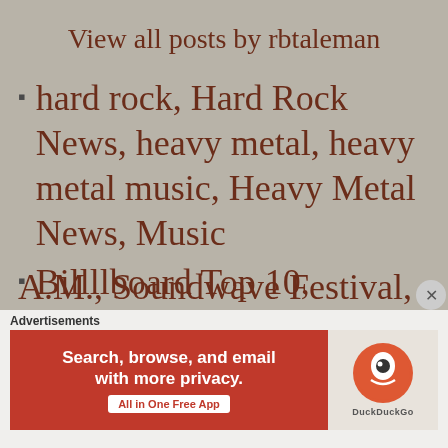View all posts by rbtaleman
hard rock, Hard Rock News, heavy metal, heavy metal music, Heavy Metal News, Music
Billboard Top 10, Headlining, NeraNature, Precious Now, SIXX A.M., Soundwave Festival, This Is...
[Figure (screenshot): DuckDuckGo advertisement banner: 'Search, browse, and email with more privacy. All in One Free App' with DuckDuckGo logo on orange background]